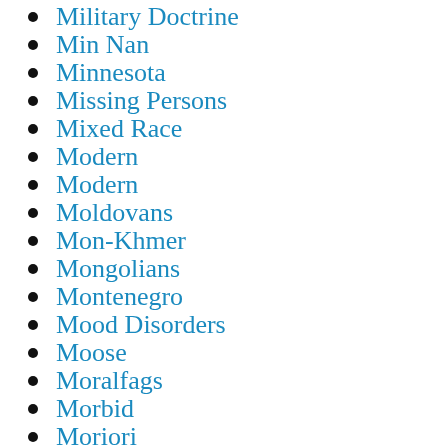Military Doctrine
Min Nan
Minnesota
Missing Persons
Mixed Race
Modern
Modern
Moldovans
Mon-Khmer
Mongolians
Montenegro
Mood Disorders
Moose
Moralfags
Morbid
Moriori